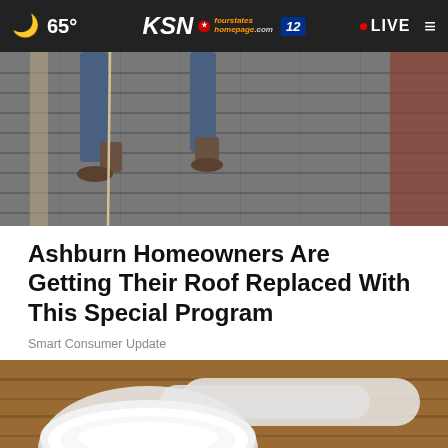65° | KSN fourstates homepage.com 12 | LIVE
[Figure (photo): Aerial/overhead view of roofing workers on a roof with shingles and gutters]
Ashburn Homeowners Are Getting Their Roof Replaced With This Special Program
Smart Consumer Update
[Figure (photo): Close-up of a plastic measuring scoop filled with white powder on a wooden surface, with a Jasper Products NOW HIRING banner overlay advertising $1,250 Hiring Bonus! Click Here to apply]
NOW HIRING! $1,250 Hiring Bonus! Click Here to apply